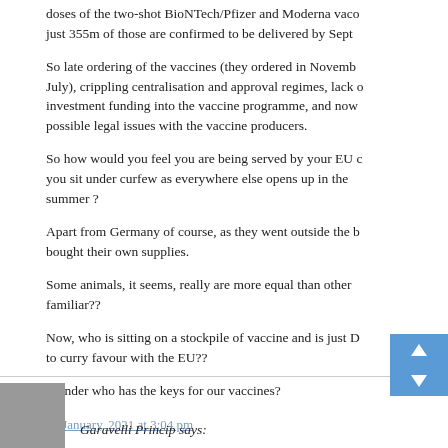doses of the two-shot BioNTech/Pfizer and Moderna vaco just 355m of those are confirmed to be delivered by Sept
So late ordering of the vaccines (they ordered in Novemb July), crippling centralisation and approval regimes, lack of investment funding into the vaccine programme, and now possible legal issues with the vaccine producers.
So how would you feel you are being served by your EU c you sit under curfew as everywhere else opens up in the summer ?
Apart from Germany of course, as they went outside the b bought their own supplies.
Some animals, it seems, really are more equal than other familiar??
Now, who is sitting on a stockpile of vaccine and is just D to curry favour with the EU??
Wonder who has the keys for our vaccines?
26 January, 2021 at 3:04 pm
Garavelli Princip says: